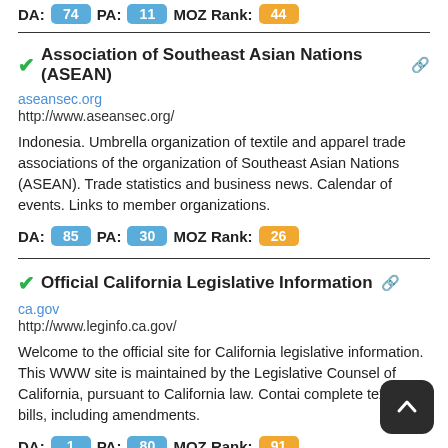DA: 74  PA: 11  MOZ Rank: 44
Association of Southeast Asian Nations (ASEAN)
aseansec.org
http://www.aseansec.org/
Indonesia. Umbrella organization of textile and apparel trade associations of the organization of Southeast Asian Nations (ASEAN). Trade statistics and business news. Calendar of events. Links to member organizations.
DA: 85  PA: 30  MOZ Rank: 26
Official California Legislative Information
ca.gov
http://www.leginfo.ca.gov/
Welcome to the official site for California legislative information. This WWW site is maintained by the Legislative Counsel of California, pursuant to California law. Contains complete text of all bills, including amendments.
DA: 1  PA: 80  MOZ Rank: 91